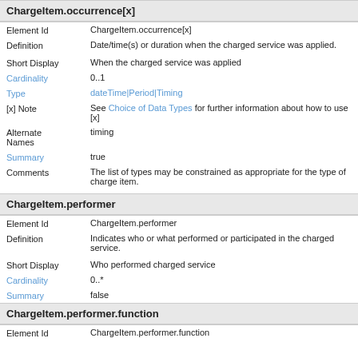ChargeItem.occurrence[x]
| Field | Value |
| --- | --- |
| Element Id | ChargeItem.occurrence[x] |
| Definition | Date/time(s) or duration when the charged service was applied. |
| Short Display | When the charged service was applied |
| Cardinality | 0..1 |
| Type | dateTime|Period|Timing |
| [x] Note | See Choice of Data Types for further information about how to use [x] |
| Alternate Names | timing |
| Summary | true |
| Comments | The list of types may be constrained as appropriate for the type of charge item. |
ChargeItem.performer
| Field | Value |
| --- | --- |
| Element Id | ChargeItem.performer |
| Definition | Indicates who or what performed or participated in the charged service. |
| Short Display | Who performed charged service |
| Cardinality | 0..* |
| Summary | false |
ChargeItem.performer.function
| Field | Value |
| --- | --- |
| Element Id | ChargeItem.performer.function |